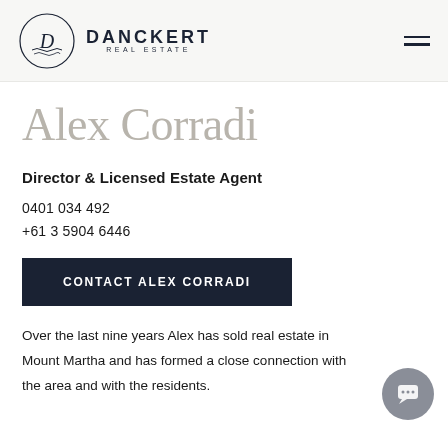Danckert Real Estate — navigation header with logo and hamburger menu
Alex Corradi
Director & Licensed Estate Agent
0401 034 492
+61 3 5904 6446
CONTACT ALEX CORRADI
Over the last nine years Alex has sold real estate in Mount Martha and has formed a close connection with the area and with the residents.